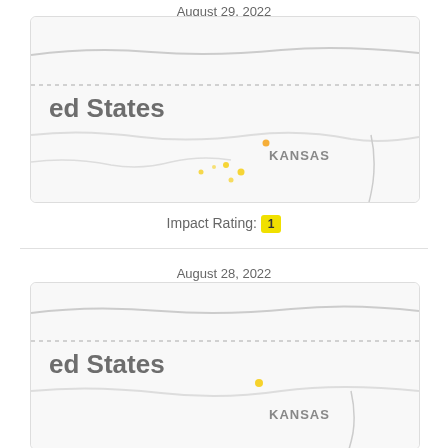August 29, 2022
[Figure (map): Map showing United States region with Kansas labeled, small yellow dots indicating seismic events near central Kansas area. Dashed border line visible near top. Roads/rivers shown as gray lines.]
Impact Rating: 1
August 28, 2022
[Figure (map): Map showing United States region with Kansas labeled, a yellow dot indicating a seismic event. Dashed border line visible. Roads/rivers shown as gray lines.]